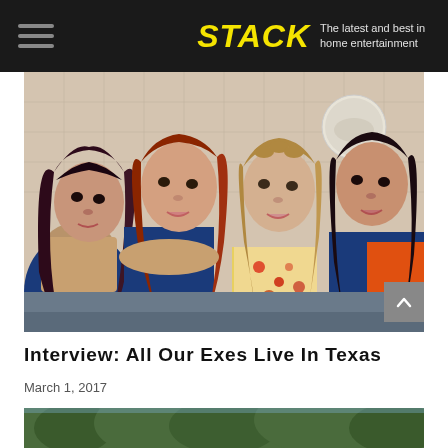STACK — The latest and best in home entertainment
[Figure (photo): Four women with styled hair in 1970s-inspired fashion posed together against a tiled wall background with a globe lamp. The group is All Our Exes Live In Texas.]
Interview: All Our Exes Live In Texas
March 1, 2017
[Figure (photo): Partial bottom teaser photo showing green trees/outdoor scene.]